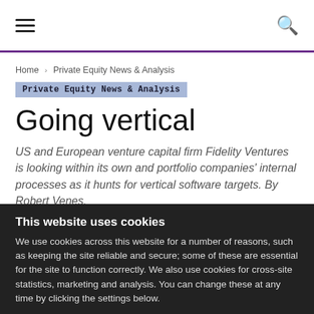≡  🔍
Home › Private Equity News & Analysis
Private Equity News & Analysis
Going vertical
US and European venture capital firm Fidelity Ventures is looking within its own and portfolio companies' internal processes as it hunts for vertical software targets. By Robert Venes.
Robert Venes -  5 October 2006
This website uses cookies
We use cookies across this website for a number of reasons, such as keeping the site reliable and secure; some of these are essential for the site to function correctly. We also use cookies for cross-site statistics, marketing and analysis. You can change these at any time by clicking the settings below.